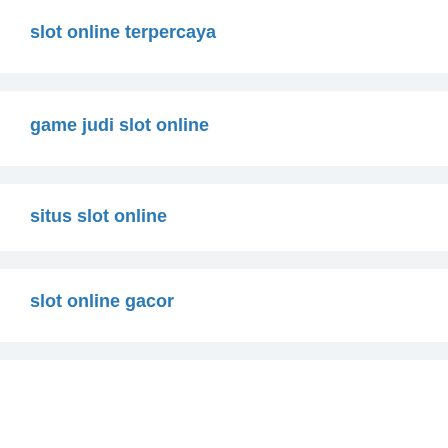slot online terpercaya
game judi slot online
situs slot online
slot online gacor